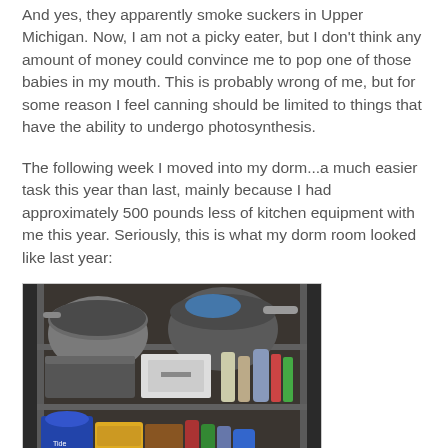And yes, they apparently smoke suckers in Upper Michigan. Now, I am not a picky eater, but I don't think any amount of money could convince me to pop one of those babies in my mouth. This is probably wrong of me, but for some reason I feel canning should be limited to things that have the ability to undergo photosynthesis.
The following week I moved into my dorm...a much easier task this year than last, mainly because I had approximately 500 pounds less of kitchen equipment with me this year. Seriously, this is what my dorm room looked like last year:
[Figure (photo): A wire shelving unit crammed full of pots, pans, bowls, kitchen appliances, food items, condiments, and various kitchen supplies stacked on multiple shelves in a dorm room.]